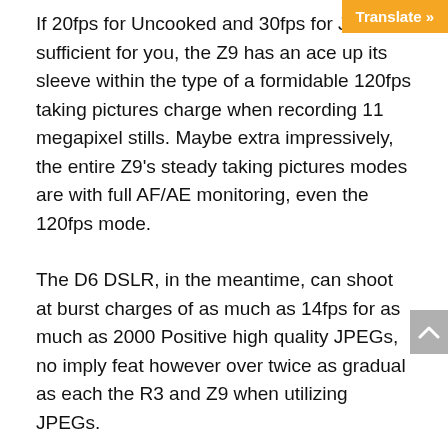If 20fps for Uncooked and 30fps for J... sufficient for you, the Z9 has an ace up its sleeve within the type of a formidable 120fps taking pictures charge when recording 11 megapixel stills. Maybe extra impressively, the entire Z9's steady taking pictures modes are with full AF/AE monitoring, even the 120fps mode.
The D6 DSLR, in the meantime, can shoot at burst charges of as much as 14fps for as much as 2000 Positive high quality JPEGs, no imply feat however over twice as gradual as each the R3 and Z9 when utilizing JPEGs.
So how precisely do these mirrorless cameras up the velocity ante? These 30fps charges are